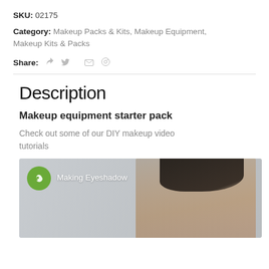SKU: 02175
Category: Makeup Packs & Kits, Makeup Equipment, Makeup Kits & Packs
Share:
Description
Makeup equipment starter pack
Check out some of our DIY makeup video tutorials
[Figure (screenshot): Video thumbnail showing a woman's face with text 'Making Eyeshadow' and a green spiral logo in the upper left corner.]